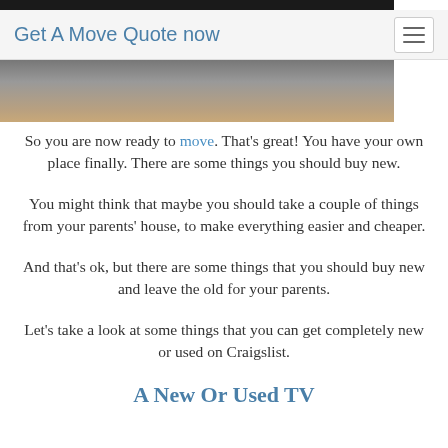Get A Move Quote now
[Figure (photo): Photo of people, partially visible at top and bottom of page header area]
So you are now ready to move. That's great! You have your own place finally. There are some things you should buy new.
You might think that maybe you should take a couple of things from your parents' house, to make everything easier and cheaper.
And that's ok, but there are some things that you should buy new and leave the old for your parents.
Let's take a look at some things that you can get completely new or used on Craigslist.
A New Or Used TV